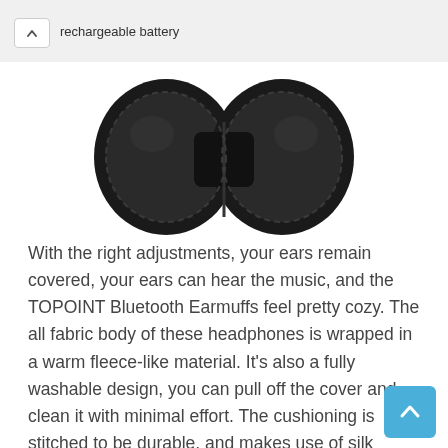rechargeable battery
[Figure (photo): Black TOPOINT Bluetooth Earmuffs headphones shown from above, folded, with fabric cushions visible]
With the right adjustments, your ears remain covered, your ears can hear the music, and the TOPOINT Bluetooth Earmuffs feel pretty cozy. The all fabric body of these headphones is wrapped in a warm fleece-like material. It's also a fully washable design, you can pull off the cover and clean it with minimal effort. The cushioning is stitched to be durable, and makes use of silk lining.
Other Considerations